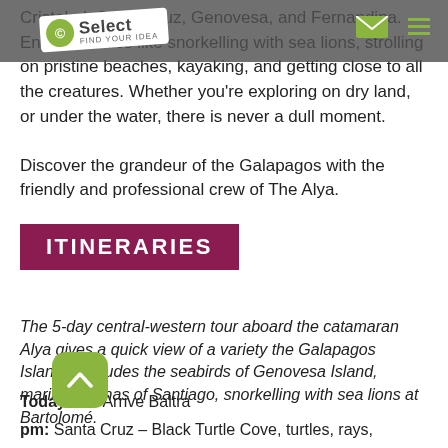Select [logo nav bar]
Cristobal, Santa Cruz, Genovesa, and Fernandina. Enjoy activities like snorkelling with sea lions, strolling on pristine beaches, kayaking, and getting close to all the creatures. Whether you're exploring on dry land, or under the water, there is never a dull moment.

Discover the grandeur of the Galapagos with the friendly and professional crew of The Alya.
ITINERARIES
The 5-day central-western tour aboard the catamaran Alya gives a quick view of a variety the Galapagos Islands. Includes the seabirds of Genovesa Island, marine iguanas of Santiago, snorkelling with sea lions at Bartolomé.
Today am: Arrive Baltra
pm: Santa Cruz – Black Turtle Cove, turtles, rays,